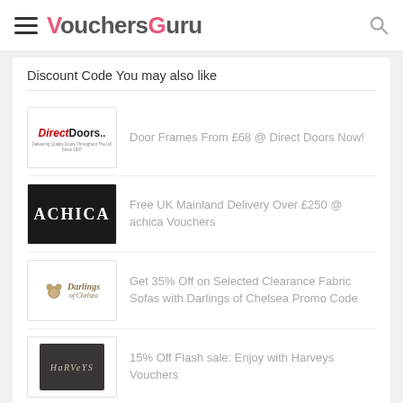VouchersGuru
Discount Code You may also like
Door Frames From £68 @ Direct Doors Now!
Free UK Mainland Delivery Over £250 @ achica Vouchers
Get 35% Off on Selected Clearance Fabric Sofas with Darlings of Chelsea Promo Code
15% Off Flash sale: Enjoy with Harveys Vouchers
Huge sale for Dents on 05th August 2019